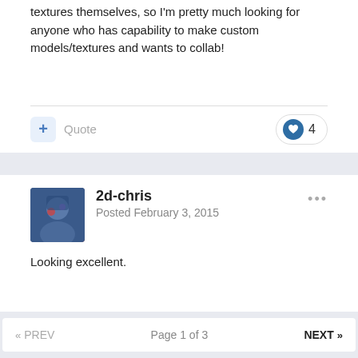textures themselves, so I'm pretty much looking for anyone who has capability to make custom models/textures and wants to collab!
Quote
4
2d-chris
Posted February 3, 2015
Looking excellent.
Quote
« PREV   Page 1 of 3   NEXT »